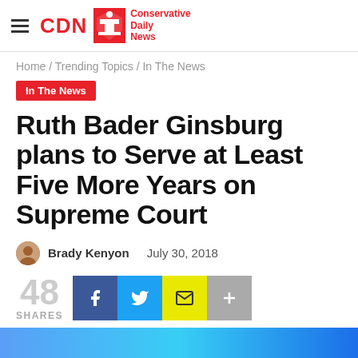CDN Conservative Daily News
Home / Trending Topics / In The News
In The News
Ruth Bader Ginsburg plans to Serve at Least Five More Years on Supreme Court
Brady Kenyon   July 30, 2018
48 SHARES
Supreme Court Justice Ruth Bader Ginsburg said